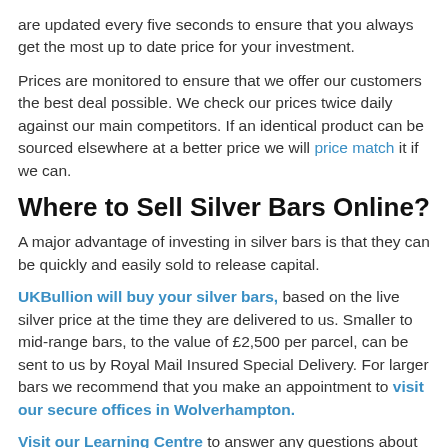are updated every five seconds to ensure that you always get the most up to date price for your investment.
Prices are monitored to ensure that we offer our customers the best deal possible. We check our prices twice daily against our main competitors. If an identical product can be sourced elsewhere at a better price we will price match it if we can.
Where to Sell Silver Bars Online?
A major advantage of investing in silver bars is that they can be quickly and easily sold to release capital.
UKBullion will buy your silver bars, based on the live silver price at the time they are delivered to us. Smaller to mid-range bars, to the value of £2,500 per parcel, can be sent to us by Royal Mail Insured Special Delivery. For larger bars we recommend that you make an appointment to visit our secure offices in Wolverhampton.
Visit our Learning Centre to answer any questions about buying or selling silver bars.
Buy silver bars from UK Bullion, a reputable and well-known UK-based family business.